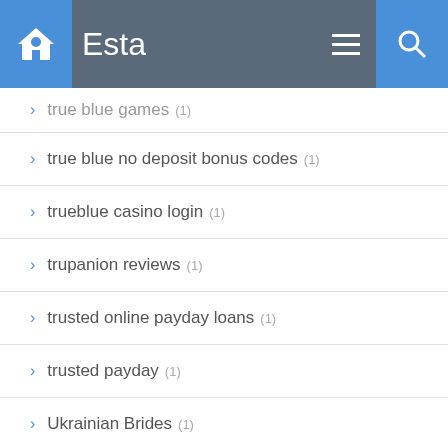Esta
true blue games (1)
true blue no deposit bonus codes (1)
trueblue casino login (1)
trupanion reviews (1)
trusted online payday loans (1)
trusted payday (1)
Ukrainian Brides (1)
Uncategorized (5,877)
Uncategorized (2)